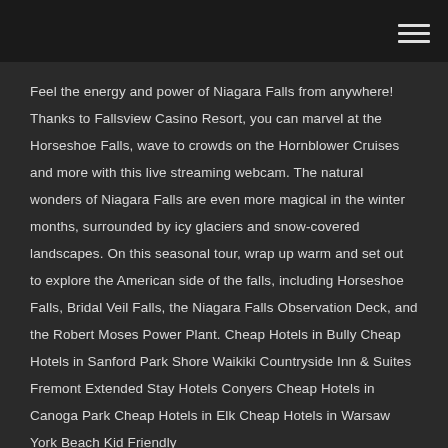Feel the energy and power of Niagara Falls from anywhere! Thanks to Fallsview Casino Resort, you can marvel at the Horseshoe Falls, wave to crowds on the Hornblower Cruises and more with this live streaming webcam. The natural wonders of Niagara Falls are even more magical in the winter months, surrounded by icy glaciers and snow-covered landscapes. On this seasonal tour, wrap up warm and set out to explore the American side of the falls, including Horseshoe Falls, Bridal Veil Falls, the Niagara Falls Observation Deck, and the Robert Moses Power Plant. Cheap Hotels in Bully Cheap Hotels in Sanford Park Shore Waikiki Countryside Inn & Suites Fremont Extended Stay Hotels Conyers Cheap Hotels in Canoga Park Cheap Hotels in Elk Cheap Hotels in Warsaw York Beach Kid Friendly